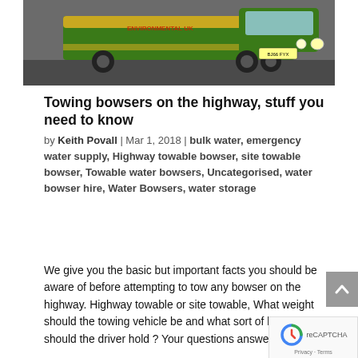[Figure (photo): A green and yellow Isuzu pickup truck parked, with license plate BJ66 FYX visible]
Towing bowsers on the highway, stuff you need to know
by Keith Povall | Mar 1, 2018 | bulk water, emergency water supply, Highway towable bowser, site towable bowser, Towable water bowsers, Uncategorised, water bowser hire, Water Bowsers, water storage
We give you the basic but important facts you should be aware of before attempting to tow any bowser on the highway. Highway towable or site towable, What weight should the towing vehicle be and what sort of licence should the driver hold ? Your questions answered.